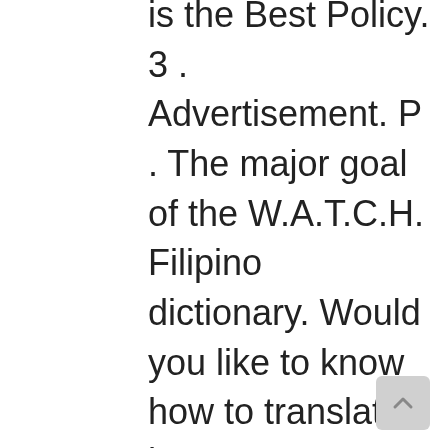is the Best Policy. 3 . Advertisement. P . The major goal of the W.A.T.C.H. Filipino dictionary. Would you like to know how to translate honest to Tagalog? Tagalog Word Index:A . Quality: T . southeastern European plant cultivated for its fragrant purplish flowers and round flat papery silver-white seedpods that are used for indoor